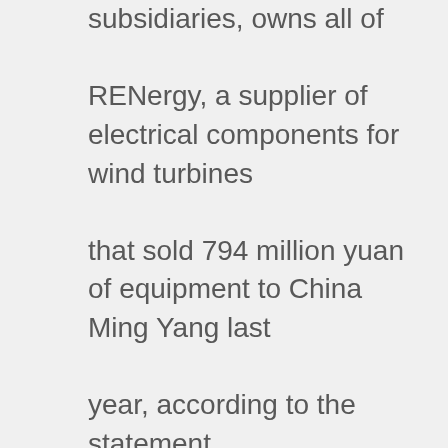subsidiaries, owns all of RENergy, a supplier of electrical components for wind turbines that sold 794 million yuan of equipment to China Ming Yang last year, according to the statement. “RENergy’s product line of wind turbine control and monitoring systems fits